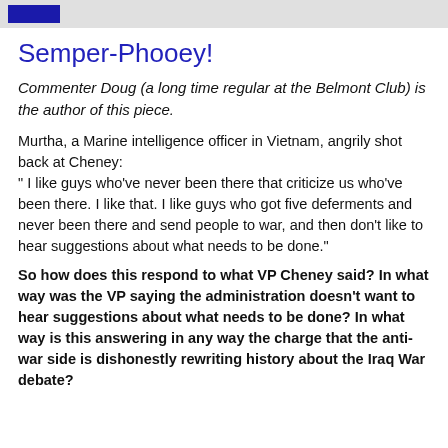Semper-Phooey!
Commenter Doug (a long time regular at the Belmont Club) is the author of this piece.
Murtha, a Marine intelligence officer in Vietnam, angrily shot back at Cheney:
" I like guys who've never been there that criticize us who've been there. I like that. I like guys who got five deferments and never been there and send people to war, and then don't like to hear suggestions about what needs to be done."
So how does this respond to what VP Cheney said? In what way was the VP saying the administration doesn't want to hear suggestions about what needs to be done? In what way is this answering in any way the charge that the anti-war side is dishonestly rewriting history about the Iraq War debate?